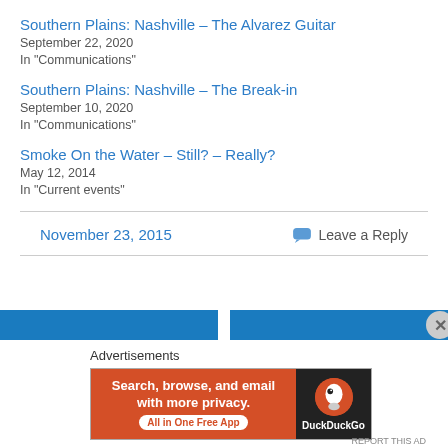Southern Plains: Nashville – The Alvarez Guitar
September 22, 2020
In "Communications"
Southern Plains: Nashville – The Break-in
September 10, 2020
In "Communications"
Smoke On the Water – Still? – Really?
May 12, 2014
In "Current events"
November 23, 2015
💬 Leave a Reply
[Figure (screenshot): Blue navigation bars with close button (X circle)]
Advertisements
[Figure (screenshot): DuckDuckGo advertisement banner: Search, browse, and email with more privacy. All in One Free App. DuckDuckGo logo on black background.]